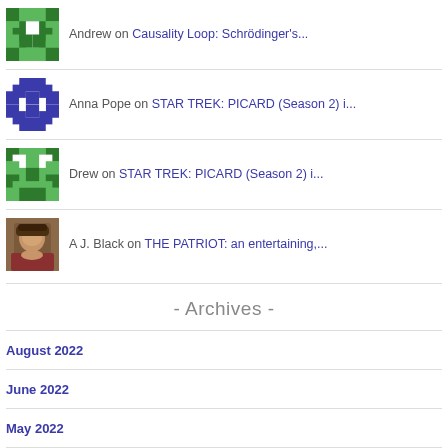Andrew on Causality Loop: Schrödinger's...
Anna Pope on STAR TREK: PICARD (Season 2) i...
Drew on STAR TREK: PICARD (Season 2) i...
A J. Black on THE PATRIOT: an entertaining,...
- Archives -
August 2022
June 2022
May 2022
April 2022